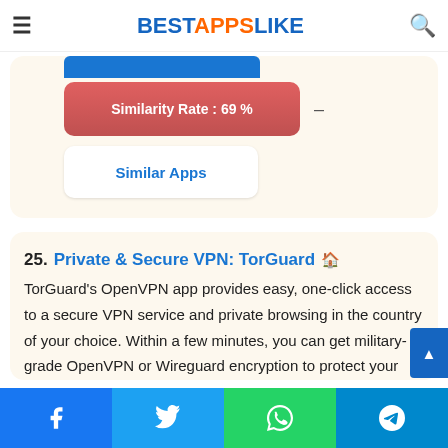BESTAPPSLIKE
[Figure (other): Similarity rate badge showing 69% and Similar Apps button inside a card]
25. Private & Secure VPN: TorGuard — TorGuard's OpenVPN app provides easy, one-click access to a secure VPN service and private browsing in the country of your choice. Within a few minutes, you can get military-grade OpenVPN or Wireguard encryption to protect your mobile internet connection. Your presence
Facebook | Twitter | WhatsApp | Telegram